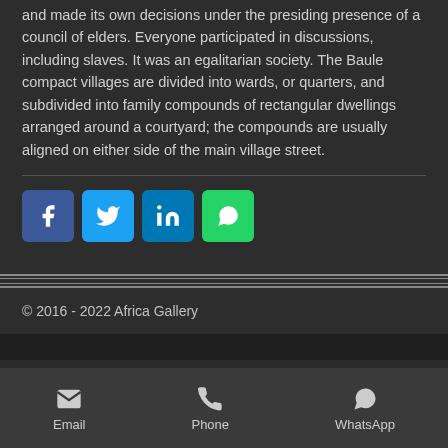and made its own decisions under the presiding presence of a council of elders. Everyone participated in discussions, including slaves. It was an egalitarian society. The Baule compact villages are divided into wards, or quarters, and subdivided into family compounds of rectangular dwellings arranged around a courtyard; the compounds are usually aligned on either side of the main village street.
[Figure (infographic): Social share buttons: Facebook (blue), Twitter (light blue), LinkedIn (dark blue), WhatsApp (green)]
© 2016 - 2022 Africa Gallery
[Figure (infographic): Bottom navigation bar with Email, Phone, and WhatsApp icons and labels]